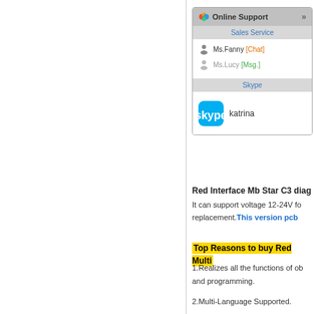[Figure (screenshot): Online Support widget showing Sales Service with Ms.Fanny [Chat] and Ms.Lucy [Msg.], and Skype section with katrina]
Red Interface Mb Star C3 diag
It can support voltage 12-24V fo replacement. This version pcb
Top Reasons to buy Red Multi
1.Realizes all the functions of ob and programming.
2.Multi-Language Supported.